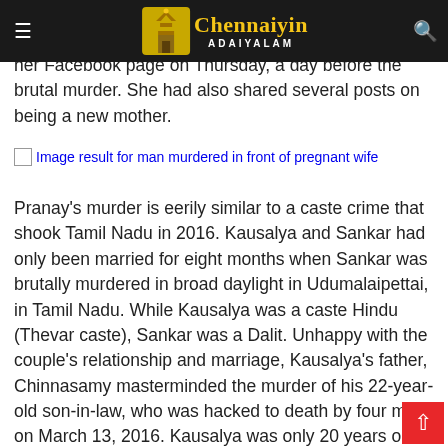Chennaiyin Adaiyalam — navigation bar with hamburger menu and search icon
based out of Miryalaguda. Amrutha had shared a picture of Ganesha idol during Ganesh Chaturthi on her Facebook page on Thursday, a day before the brutal murder. She had also shared several posts on being a new mother.
[Figure (photo): Broken image placeholder with alt text: Image result for man murdered in front of pregnant wife]
Pranay's murder is eerily similar to a caste crime that shook Tamil Nadu in 2016. Kausalya and Sankar had only been married for eight months when Sankar was brutally murdered in broad daylight in Udumalaipettai, in Tamil Nadu. While Kausalya was a caste Hindu (Thevar caste), Sankar was a Dalit. Unhappy with the couple's relationship and marriage, Kausalya's father, Chinnasamy masterminded the murder of his 22-year-old son-in-law, who was hacked to death by four men on March 13, 2016. Kausalya was only 20 years old at the